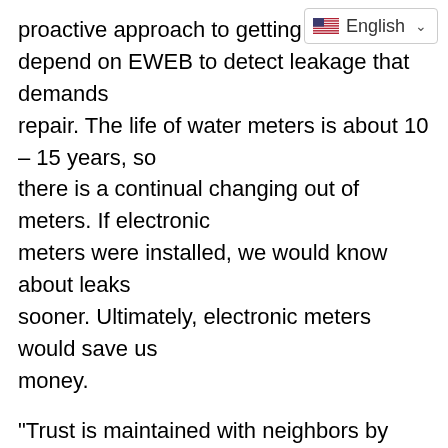proactive approach to getting t depend on EWEB to detect leakage that demands repair. The life of water meters is about 10 – 15 years, so there is a continual changing out of meters. If electronic meters were installed, we would know about leaks sooner. Ultimately, electronic meters would save us money.
“Trust is maintained with neighbors by providing good service delivery.” This was a good note to end our conversation on.
Transportation Goals, Policies, and Actions. Last night, the CAC met to review and edit the Draft Transportation Goals. This topic is of major concern to nearly all of our neighbors because of congestion, safety, and the need to encompass new transportation trends that appear to be arriving sooner than we expected. This